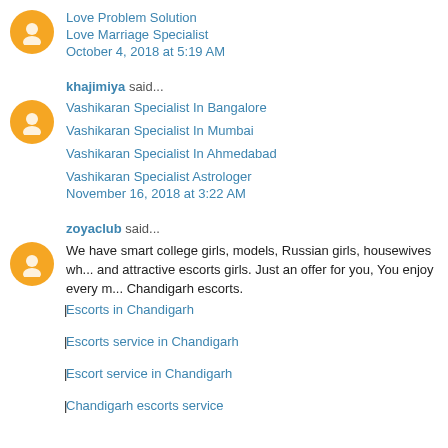Love Problem Solution
Love Marriage Specialist
October 4, 2018 at 5:19 AM
khajimiya said...
Vashikaran Specialist In Bangalore
Vashikaran Specialist In Mumbai
Vashikaran Specialist In Ahmedabad
Vashikaran Specialist Astrologer
November 16, 2018 at 3:22 AM
zoyaclub said...
We have smart college girls, models, Russian girls, housewives wh... and attractive escorts girls. Just an offer for you, You enjoy every m... Chandigarh escorts.
Escorts in Chandigarh |
Escorts service in Chandigarh |
Escort service in Chandigarh |
Chandigarh escorts service |